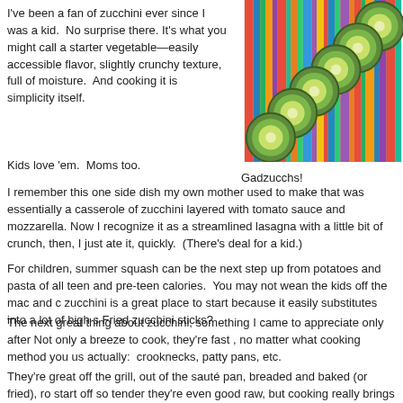I've been a fan of zucchini ever since I was a kid.  No surprise there. It's what you might call a starter vegetable—easily accessible flavor, slightly crunchy texture, full of moisture.  And cooking it is simplicity itself.
[Figure (photo): Sliced zucchini rounds arranged on a colorful striped fabric/mat background]
Gadzucchs!
Kids love 'em.  Moms too.
I remember this one side dish my own mother used to make that was essentially a casserole of zucchini layered with tomato sauce and mozzarella. Now I recognize it as a streamlined lasagna with a little bit of crunch, then, I just ate it, quickly.  (There's deal for a kid.)
For children, summer squash can be the next step up from potatoes and pasta of all teen and pre-teen calories.  You may not wean the kids off the mac and c zucchini is a great place to start because it easily substitutes into a lot of high s Fried zucchini sticks?
The next great thing about zucchini, something I came to appreciate only after Not only a breeze to cook, they're fast , no matter what cooking method you us actually:  crooknecks, patty pans, etc.
They're great off the grill, out of the sauté pan, breaded and baked (or fried), ro start off so tender they're even good raw, but cooking really brings out their flav
(No, I'm not being paid by the zucchini advisory board, but if you know someon
Extra flavor is why I started this soup out in a roasting pan (okay, two cookie sh